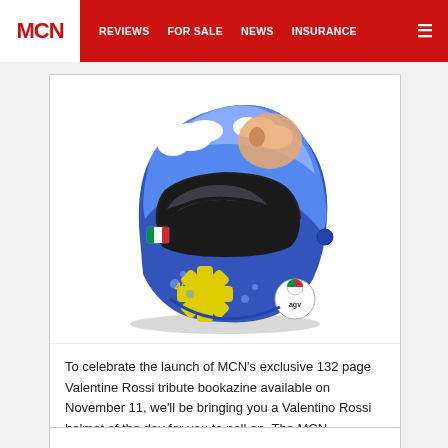MCN | REVIEWS | FOR SALE | NEWS | INSURANCE
[Figure (photo): AGV motorcycle helmet with blue and yellow design featuring Valentino Rossi livery, with Italian flag badge and AGV logo]
To celebrate the launch of MCN's exclusive 132 page Valentine Rossi tribute bookazine available on November 11, we'll be bringing you a Valentino Rossi helmet of the day for you to poll on. The MCN...